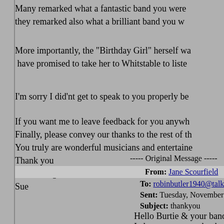Many remarked what a fantastic band you were they remarked also what a brilliant band you w
More importantly, the "Birthday Girl" herself wa have promised to take her to Whitstable to lister
I'm sorry I did'nt get to speak to you properly be
If you want me to leave feedback for you anywh Finally, please convey our thanks to the rest of th You truly are wonderful musicians and entertain
Thank you
Kindest regards
Sue
----- Original Message -----
From: Jane Scourfield
To: robinbutler1940@talktalk.net
Sent: Tuesday, November 05, 2013 10:12 PM
Subject: thankyou
Hello Burtie & your band
I also want to say thankyou so much for making a specia